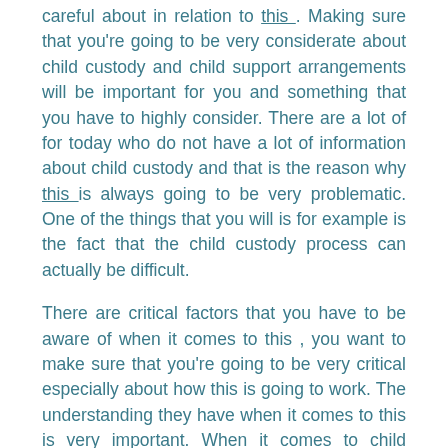careful about in relation to this. Making sure that you're going to be very considerate about child custody and child support arrangements will be important for you and something that you have to highly consider. There are a lot of for today who do not have a lot of information about child custody and that is the reason why this is always going to be very problematic. One of the things that you will is for example is the fact that the child custody process can actually be difficult.
There are critical factors that you have to be aware of when it comes to this , you want to make sure that you're going to be very critical especially about how this is going to work. The understanding they have when it comes to this is very important. When it comes to child custody decisions, knowing who decides will important. Letting the government authorities take over is not a good idea because, that is not going to be the best interest of the child and that is why you want to make sure you're in control of the process. If you can sit with your spouse and make the decisions when it comes to this, it is always going to be easier. It is when this is not